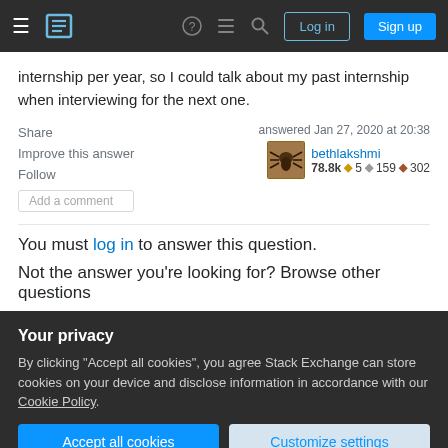Stack Exchange navigation bar with hamburger menu, logo, help, chat, search, Log in, Sign up buttons
internship per year, so I could talk about my past internship when interviewing for the next one.
Share   Improve this answer   Follow   Add a comment   answered Jan 27, 2020 at 20:38   bethlakshmi   78.8k ◆5 ◆159 ◆302
You must log in to answer this question.
Not the answer you're looking for? Browse other questions
Your privacy
By clicking "Accept all cookies", you agree Stack Exchange can store cookies on your device and disclose information in accordance with our Cookie Policy.
Accept all cookies   Customize settings
2022 at 00:00-03:00 AM...